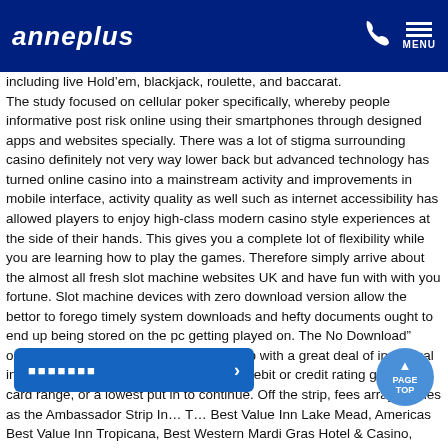anneplus MENU
including live Hold’em, blackjack, roulette, and baccarat. The study focused on cellular poker specifically, whereby people informative post risk online using their smartphones through designed apps and websites specially. There was a lot of stigma surrounding casino definitely not very way lower back but advanced technology has turned online casino into a mainstream activity and improvements in mobile interface, activity quality as well such as internet accessibility has allowed players to enjoy high-class modern casino style experiences at the side of their hands. This gives you a complete lot of flexibility while you are learning how to play the games. Therefore simply arrive about the almost all fresh slot machine websites UK and have fun with with you fortune. Slot machine devices with zero download version allow the bettor to forego timely system downloads and hefty documents ought to end up being stored on the pc getting played on. The No Download” option usually bypasses getting to sign up with a great deal of individual info, along without obtaining to supply a debit or credit rating greeting card range, or a lowest put in to continue. Off the strip, fees array f…mes as the Ambassador Strip In… T… Best Value Inn Lake Mead, Americas Best Value Inn Tropicana, Best Western Mardi Gras Hotel & Casino, Super 8